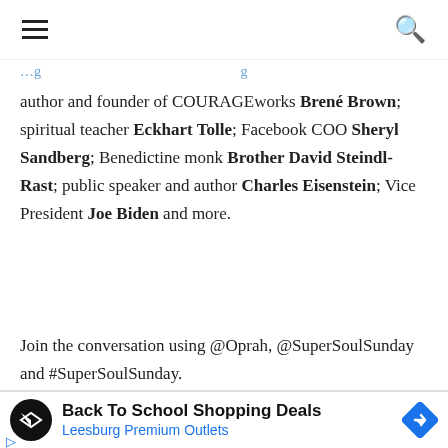≡  🔍
author and founder of COURAGEworks Brené Brown; spiritual teacher Eckhart Tolle; Facebook COO Sheryl Sandberg; Benedictine monk Brother David Steindl-Rast; public speaker and author Charles Eisenstein; Vice President Joe Biden and more.
Join the conversation using @Oprah, @SuperSoulSunday and #SuperSoulSunday.
[Figure (other): Advertisement banner for Back To School Shopping Deals at Leesburg Premium Outlets with logo and navigation icon]